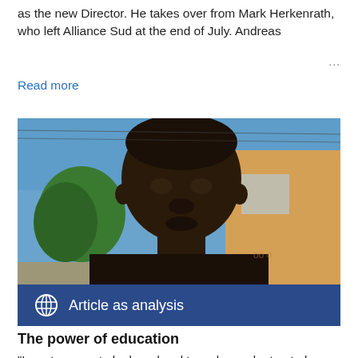as the new Director. He takes over from Mark Herkenrath, who left Alliance Sud at the end of July. Andreas …
Read more
[Figure (photo): Close-up portrait photo of a person outdoors with a building and trees in the background, overlaid with a dark blue banner reading 'Article as analysis' with a globe icon.]
The power of education
"I want women to be heard and to no longer be treated as the…"